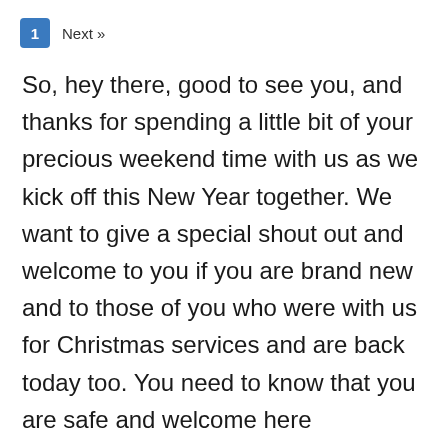1  Next »
So, hey there, good to see you, and thanks for spending a little bit of your precious weekend time with us as we kick off this New Year together. We want to give a special shout out and welcome to you if you are brand new and to those of you who were with us for Christmas services and are back today too. You need to know that you are safe and welcome here regardless of what you believe or how your story reads, we are privileged to have you with us and hope you want to come back and do this all over